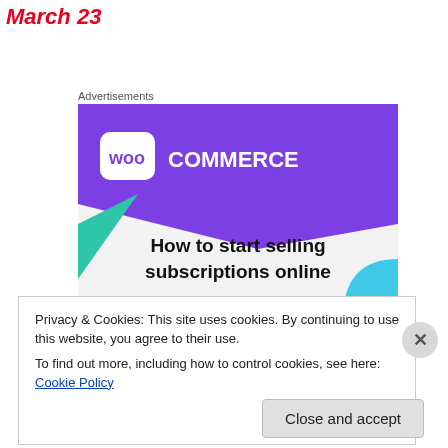March 23
Advertisements
[Figure (illustration): WooCommerce advertisement banner showing purple header with WooCommerce logo, teal and blue geometric shapes, and text 'How to start selling subscriptions online']
Privacy & Cookies: This site uses cookies. By continuing to use this website, you agree to their use.
To find out more, including how to control cookies, see here: Cookie Policy
Close and accept